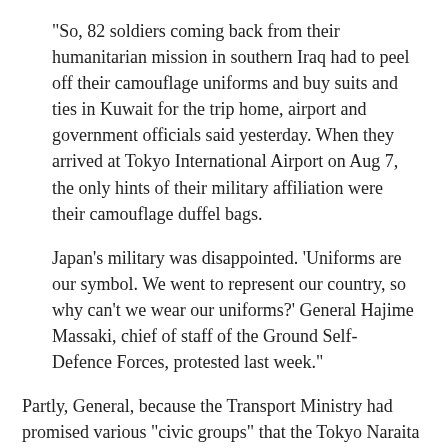"So, 82 soldiers coming back from their humanitarian mission in southern Iraq had to peel off their camouflage uniforms and buy suits and ties in Kuwait for the trip home, airport and government officials said yesterday. When they arrived at Tokyo International Airport on Aug 7, the only hints of their military affiliation were their camouflage duffel bags.
Japan's military was disappointed. 'Uniforms are our symbol. We went to represent our country, so why can't we wear our uniforms?' General Hajime Massaki, chief of staff of the Ground Self-Defence Forces, protested last week."
Partly, General, because the Transport Ministry had promised various "civic groups" that the Tokyo Naraita Airport would not be used by the military. And partly because the Singapore Airlines, which flew the troops home, also requested that they dress as civilians. In the words of the airport's spokesman, "We have to think how ordinary passengers might feel sitting next to a large group of soldiers in uniforms, occupying nearly one-third of the